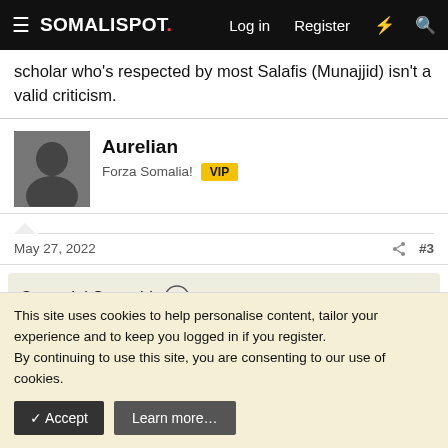SOMALISPOT. Log in Register
scholar who's respected by most Salafis (Munajjid) isn't a valid criticism.
Aurelian
Forza Somalia! VIP
May 27, 2022 #3
Omar del Sur said: ↑
[Figure (photo): Partially visible image inside a quote block, dark with some color visible in center]
This site uses cookies to help personalise content, tailor your experience and to keep you logged in if you register.
By continuing to use this site, you are consenting to our use of cookies.
✓ Accept   Learn more…